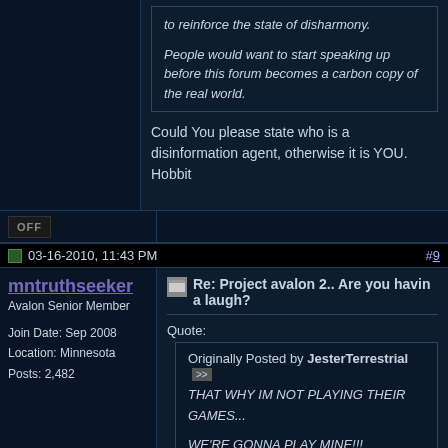to reinforce the state of disharmony.

People would want to start speaking up before this forum becomes a carbon copy of the real world.
Could You please state who is a disinformation agent, otherwise it is YOU. Hobbit
[Figure (other): OFF button/badge in sidebar]
03-16-2010, 11:43 PM  #9
mntruthseeker
Avalon Senior Member
Join Date: Sep 2008
Location: Minnesota
Posts: 2,482
Re: Project avalon 2.. Are you havin a laugh?
Quote:
Originally Posted by JesterTerrestrial >>
THAT WHY IM NOT PLAYING THEIR GAMES...

WE'RE GONNA PLAY MINE!!!

WATCH ME!!! I DON'T CARE!!!

I TOLD YOU!!!! I AM ALREADY